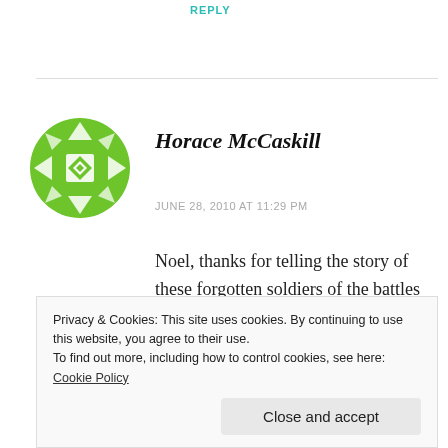REPLY
[Figure (illustration): Green geometric pattern avatar icon for user Horace McCaskill]
Horace McCaskill
JUNE 28, 2010 AT 11:29 PM
Noel, thanks for telling the story of these forgotten soldiers of the battles of the Wilderness and Spotsylvania Court House. On May 15, 1864, the mission of the 23rd & 30th USCTs would briefly changed from combat
Privacy & Cookies: This site uses cookies. By continuing to use this website, you agree to their use.
To find out more, including how to control cookies, see here: Cookie Policy
Close and accept
appropriate recognition is long overdue